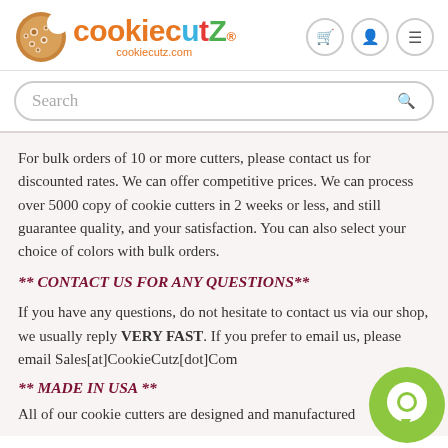[Figure (logo): CookieCutz logo with cookie icon and colorful brand name text, cookiecutz.com URL below]
Search
For bulk orders of 10 or more cutters, please contact us for discounted rates. We can offer competitive prices. We can process over 5000 copy of cookie cutters in 2 weeks or less, and still guarantee quality, and your satisfaction. You can also select your choice of colors with bulk orders.
** CONTACT US FOR ANY QUESTIONS**
If you have any questions, do not hesitate to contact us via our shop, we usually reply VERY FAST. If you prefer to email us, please email Sales[at]CookieCutz[dot]Com
** MADE IN USA **
All of our cookie cutters are designed and manufactured